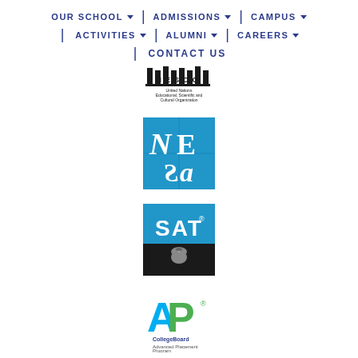OUR SCHOOL | ADMISSIONS | CAMPUS | ACTIVITIES | ALUMNI | CAREERS | CONTACT US
[Figure (logo): UNESCO logo with columns and text: United Nations Educational, Scientific and Cultural Organization]
[Figure (logo): NESA logo - blue square with stylized NE and Arabic letters]
[Figure (logo): SAT CollegeBoard logo - blue top with SAT text, black bottom with acorn]
[Figure (logo): AP CollegeBoard Advanced Placement Program logo]